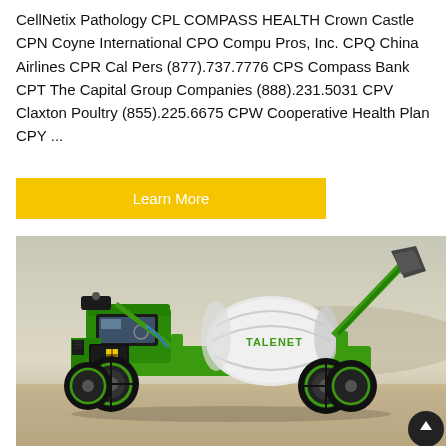CellNetix Pathology CPL COMPASS HEALTH Crown Castle CPN Coyne International CPO Compu Pros, Inc. CPQ China Airlines CPR Cal Pers (877).737.7776 CPS Compass Bank CPT The Capital Group Companies (888).231.5031 CPV Claxton Poultry (855).225.6675 CPW Cooperative Health Plan CPY ...
Learn More
[Figure (photo): A green and black self-loading concrete mixer truck (branded TALENET) with a white drum and raised loading bucket, parked on a concrete surface with a hazy background.]